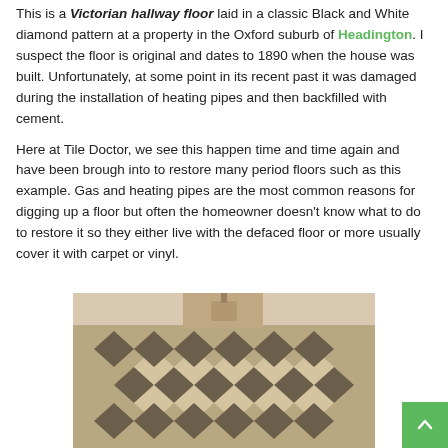This is a Victorian hallway floor laid in a classic Black and White diamond pattern at a property in the Oxford suburb of Headington. I suspect the floor is original and dates to 1890 when the house was built. Unfortunately, at some point in its recent past it was damaged during the installation of heating pipes and then backfilled with cement.

Here at Tile Doctor, we see this happen time and time again and have been brough into to restore many period floors such as this example. Gas and heating pipes are the most common reasons for digging up a floor but often the homeowner doesn't know what to do to restore it so they either live with the defaced floor or more usually cover it with carpet or vinyl.
[Figure (photo): Photograph of a Victorian hallway floor with a black and white diamond (checkerboard) tile pattern, viewed from above, showing the damaged and restored floor in a hallway space.]